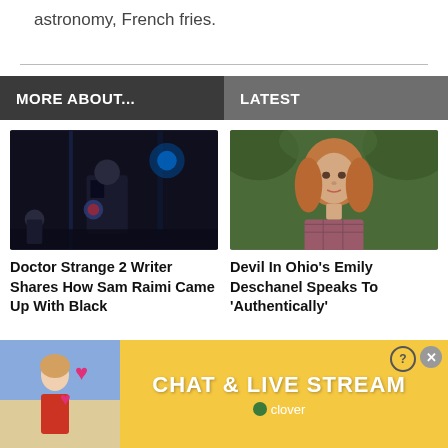astronomy, French fries.
MORE ABOUT...
LATEST
[Figure (photo): Captain America/superhero in dark suit standing in dimly lit environment]
Doctor Strange 2 Writer Shares How Sam Raimi Came Up With Black
[Figure (photo): Woman with long blonde/auburn hair wearing plaid shirt in outdoor setting]
Devil In Ohio's Emily Deschanel Speaks To 'Authentically'
[Figure (photo): Advertisement banner: CHAT & LIVE STREAM with clover branding, orange/yellow background, woman on left side with hearts]